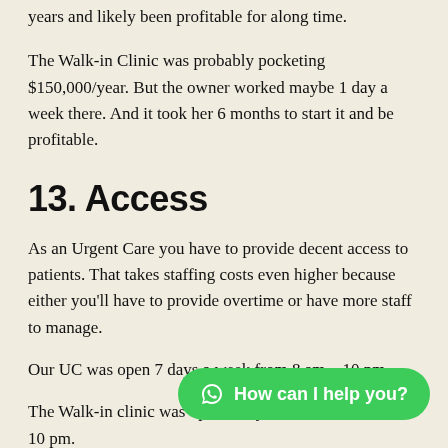years and likely been profitable for along time.
The Walk-in Clinic was probably pocketing $150,000/year. But the owner worked maybe 1 day a week there. And it took her 6 months to start it and be profitable.
13. Access
As an Urgent Care you have to provide decent access to patients. That takes staffing costs even higher because either you'll have to provide overtime or have more staff to manage.
Our UC was open 7 days a week from 8 am – 10 pm.
The Walk-in clinic was open 7 days a week from 8 am – 10 pm.
[Figure (other): Green chat button with WhatsApp icon and text 'How can I help you?']